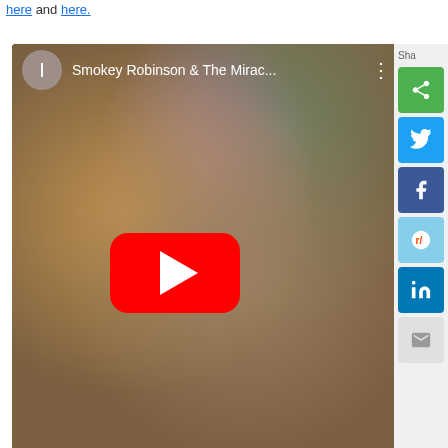here and here.
[Figure (screenshot): YouTube embedded video player showing 'Smokey Robinson & The Mirac...' with a blurred thumbnail of a person's face, a red YouTube play button in the center, and a share panel on the right with green share, Twitter, Facebook, Reddit, LinkedIn, and email buttons.]